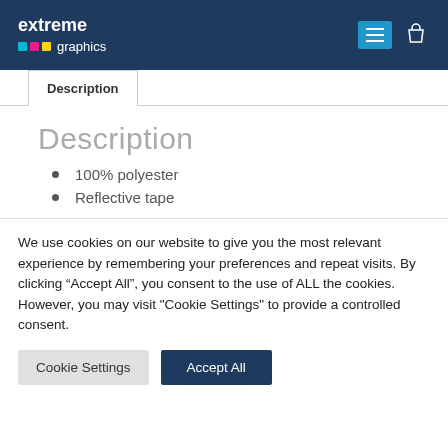[Figure (logo): Extreme Graphics logo with colored dots on dark blue header background]
Description
Description
100% polyester
Reflective tape
We use cookies on our website to give you the most relevant experience by remembering your preferences and repeat visits. By clicking “Accept All”, you consent to the use of ALL the cookies. However, you may visit "Cookie Settings" to provide a controlled consent.